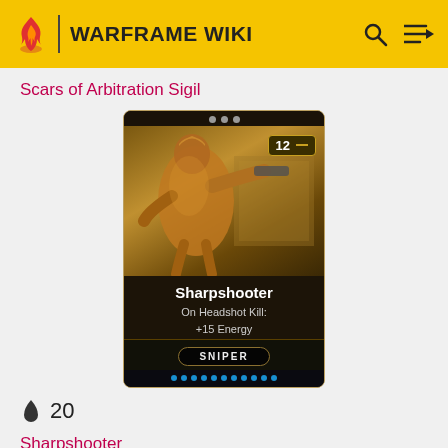WARFRAME WIKI
Scars of Arbitration Sigil
[Figure (illustration): Warframe mod card for Sharpshooter (rank 12). Shows a gold-armored Warframe figure aiming a weapon. Card text: 'Sharpshooter / On Headshot Kill: +15 Energy / SNIPER'. Gold and dark brown card with blue lights at bottom.]
20
Sharpshooter
[Figure (illustration): Partial view of another Warframe mod card at the bottom of the page, showing just the top portion with three dots.]